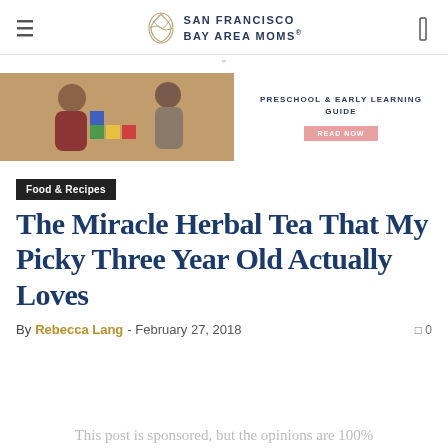SAN FRANCISCO BAY AREA MOMS
[Figure (photo): Two young children playing with colorful blocks, advertisement banner for Preschool & Early Learning Guide]
Food & Recipes
The Miracle Herbal Tea That My Picky Three Year Old Actually Loves
By Rebecca Lang - February 27, 2018   0
This post is sponsored, but the opinions are 100%